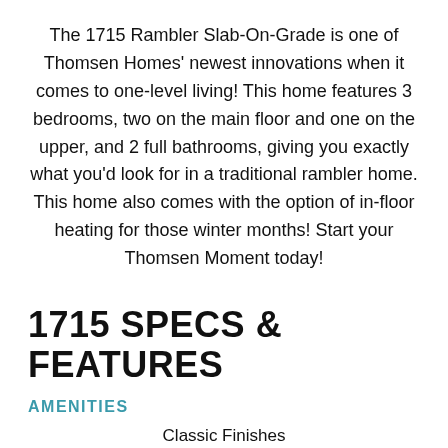The 1715 Rambler Slab-On-Grade is one of Thomsen Homes' newest innovations when it comes to one-level living! This home features 3 bedrooms, two on the main floor and one on the upper, and 2 full bathrooms, giving you exactly what you'd look for in a traditional rambler home. This home also comes with the option of in-floor heating for those winter months! Start your Thomsen Moment today!
1715 SPECS & FEATURES
AMENITIES
Classic Finishes